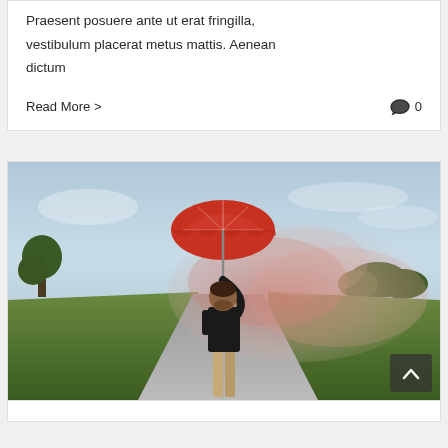Praesent posuere ante ut erat fringilla, vestibulum placerat metus mattis. Aenean dictum
Read More >
0
[Figure (photo): Man standing on a dirt road in a field holding a red umbrella with pink/red smoke billowing around him. Stormy sky in background with green fields on either side of the road.]